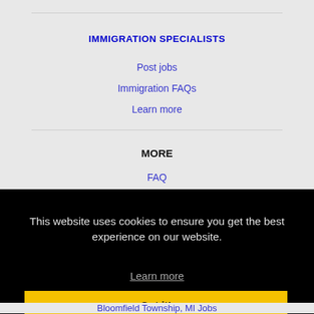IMMIGRATION SPECIALISTS
Post jobs
Immigration FAQs
Learn more
MORE
FAQ
This website uses cookies to ensure you get the best experience on our website.
Learn more
Got it!
Bloomfield Township, MI Jobs